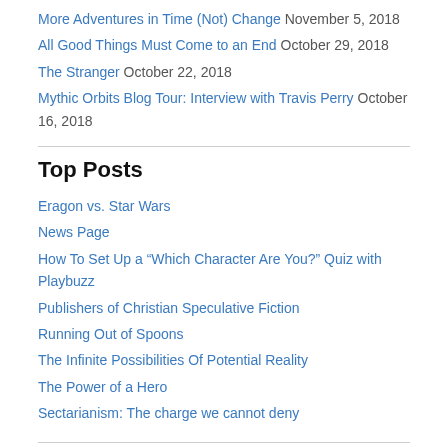More Adventures in Time (Not) Change  November 5, 2018
All Good Things Must Come to an End  October 29, 2018
The Stranger  October 22, 2018
Mythic Orbits Blog Tour: Interview with Travis Perry  October 16, 2018
Top Posts
Eragon vs. Star Wars
News Page
How To Set Up a “Which Character Are You?” Quiz with Playbuzz
Publishers of Christian Speculative Fiction
Running Out of Spoons
The Infinite Possibilities Of Potential Reality
The Power of a Hero
Sectarianism: The charge we cannot deny
Archives
Select Month